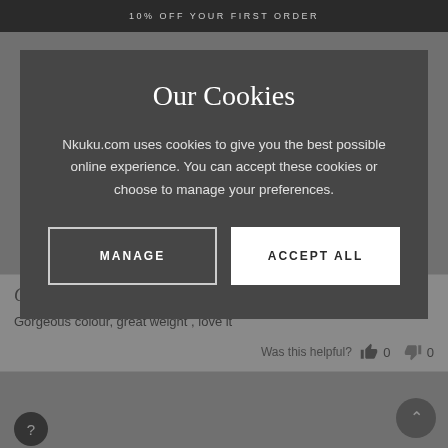10% OFF YOUR FIRST ORDER
Our Cookies
Nkuku.com uses cookies to give you the best possible online experience. You can accept these cookies or choose to manage your preferences.
MANAGE
ACCEPT ALL
Green Vase
Gorgeous colour, great weight , love it
Was this helpful? 0 0